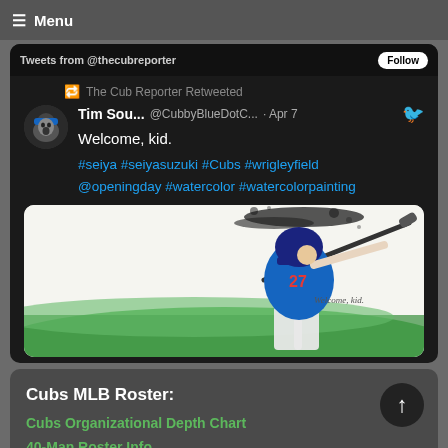☰ Menu
Tweets from @thecubreporter  Follow
The Cub Reporter Retweeted
Tim Sou...  @CubbyBlueDotC...  · Apr 7
Welcome, kid.
#seiya #seiyasuzuki #Cubs #wrigleyfield @openingday #watercolor #watercolorpainting
[Figure (illustration): Watercolor illustration of a Chicago Cubs baseball player wearing jersey #27 swinging a bat, with green grass and black spray/splatter effect at the top. Text 'Welcome, kid.' appears in the image.]
Cubs MLB Roster:
Cubs Organizational Depth Chart
40-Man Roster Info